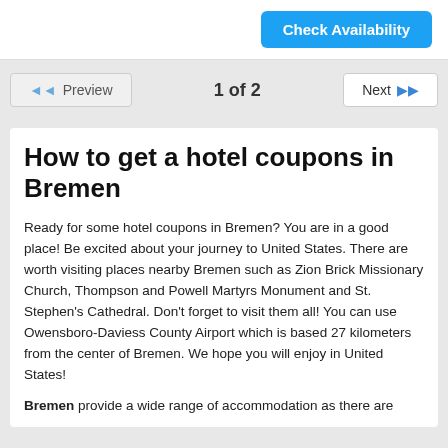[Figure (other): Check Availability button (blue, top right)]
◄◄ Preview    1 of 2    Next ►►
How to get a hotel coupons in Bremen
Ready for some hotel coupons in Bremen? You are in a good place! Be excited about your journey to United States. There are worth visiting places nearby Bremen such as Zion Brick Missionary Church, Thompson and Powell Martyrs Monument and St. Stephen's Cathedral. Don't forget to visit them all! You can use Owensboro-Daviess County Airport which is based 27 kilometers from the center of Bremen. We hope you will enjoy in United States!
Bremen provide a wide range of accommodation as there are